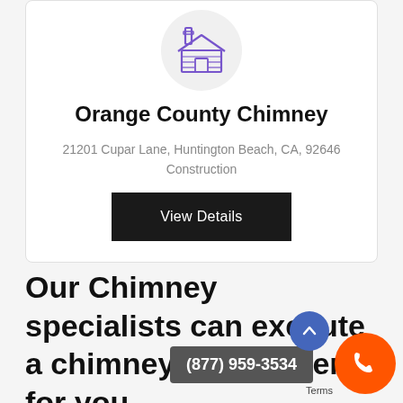[Figure (illustration): Purple house/chimney icon inside a light gray circle]
Orange County Chimney
21201 Cupar Lane, Huntington Beach, CA, 92646
Construction
View Details
Our Chimney specialists can execute a chimney assessment for you.
(877) 959-3534